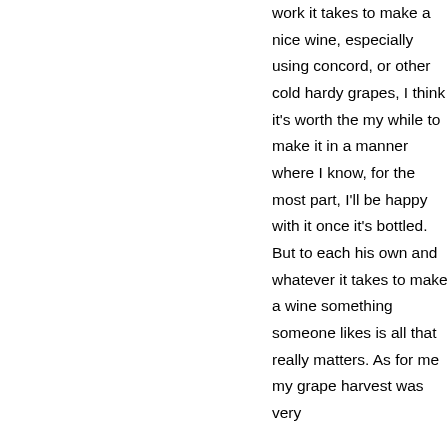work it takes to make a nice wine, especially using concord, or other cold hardy grapes, I think it's worth the my while to make it in a manner where I know, for the most part, I'll be happy with it once it's bottled. But to each his own and whatever it takes to make a wine something someone likes is all that really matters. As for me my grape harvest was very